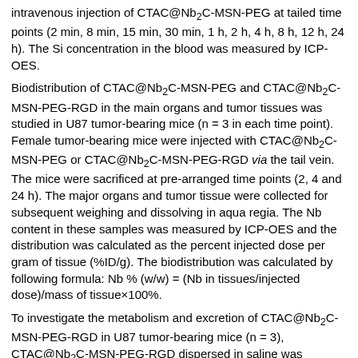intravenous injection of CTAC@Nb2C-MSN-PEG at tailed time points (2 min, 8 min, 15 min, 30 min, 1 h, 2 h, 4 h, 8 h, 12 h, 24 h). The Si concentration in the blood was measured by ICP-OES.
Biodistribution of CTAC@Nb2C-MSN-PEG and CTAC@Nb2C-MSN-PEG-RGD in the main organs and tumor tissues was studied in U87 tumor-bearing mice (n = 3 in each time point). Female tumor-bearing mice were injected with CTAC@Nb2C-MSN-PEG or CTAC@Nb2C-MSN-PEG-RGD via the tail vein. The mice were sacrificed at pre-arranged time points (2, 4 and 24 h). The major organs and tumor tissue were collected for subsequent weighing and dissolving in aqua regia. The Nb content in these samples was measured by ICP-OES and the distribution was calculated as the percent injected dose per gram of tissue (%ID/g). The biodistribution was calculated by following formula: Nb % (w/w) = (Nb in tissues/injected dose)/mass of tissue×100%.
To investigate the metabolism and excretion of CTAC@Nb2C-MSN-PEG-RGD in U87 tumor-bearing mice (n = 3), CTAC@Nb2C-MSN-PEG-RGD dispersed in saline was intravenously injected into mice and the urine and feces were collected at different time intervals (2, 6, 12, 24, 48 and 72 h). The Nb and Si contents were analyzed by ICP-OES.
In vivo enhanced chemotherapy and PTT by CTAC@Nb2C-MSN-PEG-RGD
A U87 tumor xenograft model was established by subcutaneous injection (150 μL) of 10^7/mL U87 cancer cells dispersed in PBS at the right side of the back via a syringe. When the tumor volume reached around 50 mm3, the mice were randomly divided into four groups: control group, laser only